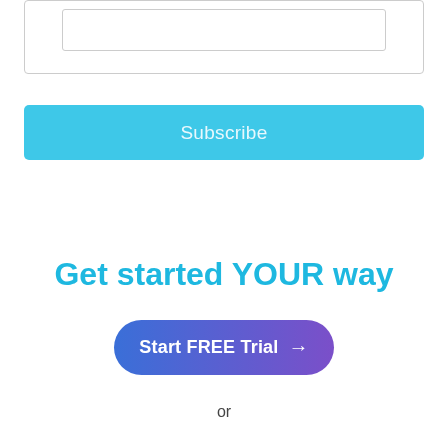[Figure (screenshot): A UI card with a text input box and a light blue Subscribe button]
Get started YOUR way
[Figure (other): A rounded pill-shaped button with blue-to-purple gradient reading 'Start FREE Trial' with an arrow]
or